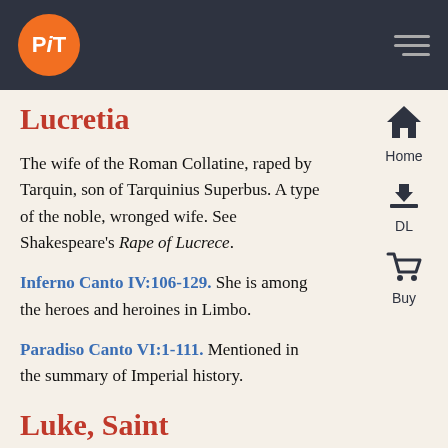PiT (logo) | navigation header bar
Lucretia
The wife of the Roman Collatine, raped by Tarquin, son of Tarquinius Superbus. A type of the noble, wronged wife. See Shakespeare's Rape of Lucrece.
Inferno Canto IV:106-129. She is among the heroes and heroines in Limbo.
Paradiso Canto VI:1-111. Mentioned in the summary of Imperial history.
Luke, Saint